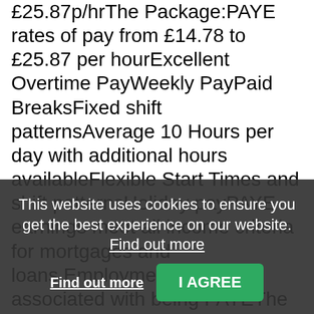£25.87p/hrThe Package:PAYE rates of pay from £14.78 to £25.87 per hourExcellent Overtime PayWeekly PayPaid BreaksFixed shift patternsAverage 10 Hours per day with additional hours availableFlexible Start Times and shift patternsHoliday payPAYE earnings meet all income criteria for mortgages and loans.Employment rights associated with being PAYEThe Work Benefits:Mapped-out routesEasy clean straightforward cages, no handballingFree uniformFree hot drinksSubsidised canteenHigh quality vehicleTop RatesA valid Class 1 HGV Driver LicenceA valid Drivers CPC CardA deep and full understanding of HGV 1 driver WTD legislationA good geographic knowledgeUK workBe able to travel to Livingston depot
This website uses cookies to ensure you get the best experience on our website. Find out more